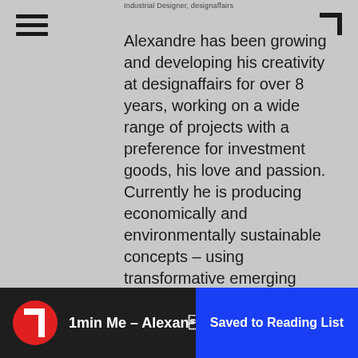Industrial Designer, designaffairs
Alexandre has been growing and developing his creativity at designaffairs for over 8 years, working on a wide range of projects with a preference for investment goods, his love and passion. Currently he is producing economically and environmentally sustainable concepts – using transformative emerging technologies. The world of tomorrow is always on his mind.
[Figure (infographic): LinkedIn and Instagram social media icons]
[Figure (screenshot): Video thumbnail strip showing '1min Me – Alexande...' with a red circular logo and 'Saved to Reading List' blue badge overlay]